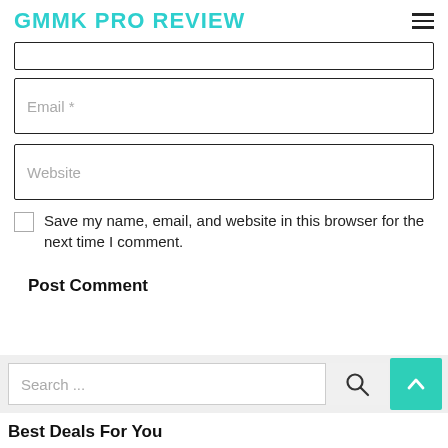GMMK PRO REVIEW
Email *
Website
Save my name, email, and website in this browser for the next time I comment.
Post Comment
Search ...
Best Deals For You